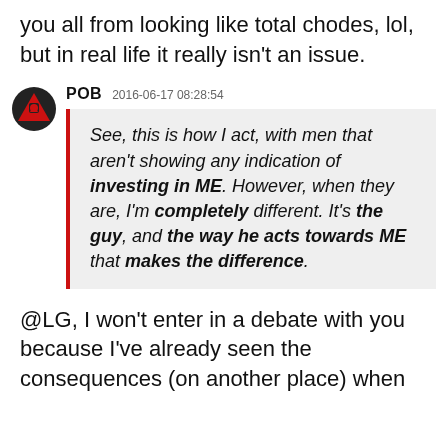you all from looking like total chodes, lol, but in real life it really isn't an issue.
POB  2016-06-17 08:28:54
See, this is how I act, with men that aren't showing any indication of investing in ME. However, when they are, I'm completely different. It's the guy, and the way he acts towards ME that makes the difference.
@LG, I won't enter in a debate with you because I've already seen the consequences (on another place) when